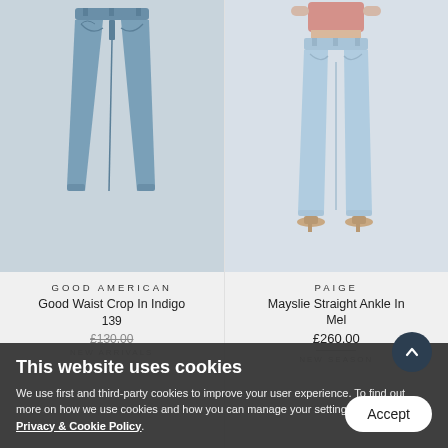[Figure (photo): Product photo of dark blue skinny jeans (Good American Good Waist Crop In Indigo) on grey background]
GOOD AMERICAN
Good Waist Crop In Indigo
139
£130.00
NEW ARRIVALS
[Figure (photo): Product photo of light blue straight ankle jeans (Paige Mayslie Straight Ankle In Mel) on light grey background, worn with tan heeled sandals]
PAIGE
Mayslie Straight Ankle In Mel
£260.00
NEW SEASON
This website uses cookies
We use first and third-party cookies to improve your user experience. To find out more on how we use cookies and how you can manage your settings, please see our Privacy & Cookie Policy.